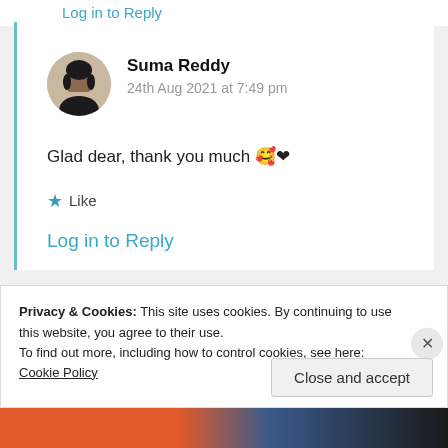Log in to Reply
Suma Reddy
24th Aug 2021 at 7:49 pm
Glad dear, thank you much 🥰❤
Like
Log in to Reply
Privacy & Cookies: This site uses cookies. By continuing to use this website, you agree to their use. To find out more, including how to control cookies, see here: Cookie Policy
Close and accept